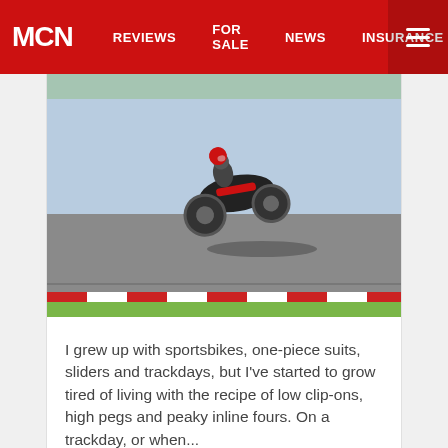MCN | REVIEWS | FOR SALE | NEWS | INSURANCE
[Figure (photo): Motorcycle leaning on a race track with green grass and red/white curbing in the background]
I grew up with sportsbikes, one-piece suits, sliders and trackdays, but I've started to grow tired of living with the recipe of low clip-ons, high pegs and peaky inline fours. On a trackday, or when...